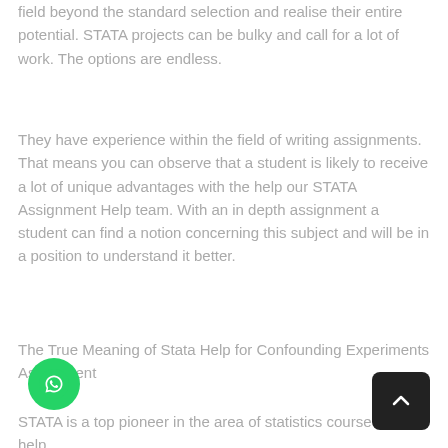field beyond the standard selection and realise their entire potential. STATA projects can be bulky and call for a lot of work. The options are endless.
They have experience within the field of writing assignments. That means you can observe that a student is likely to receive a lot of unique advantages with the help our STATA Assignment Help team. With an in depth assignment a student can find a notion concerning this subject and will be in a position to understand it better.
The True Meaning of Stata Help for Confounding Experiments Assignment
STATA is a top pioneer in the area of statistics course work help,